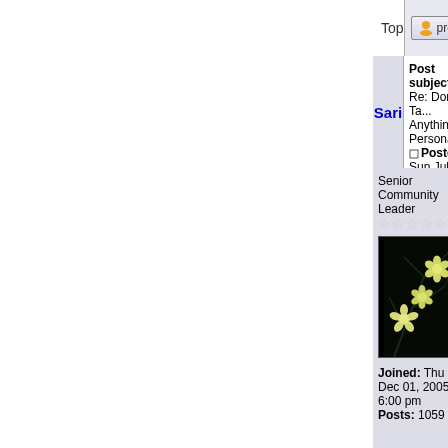Top
[Figure (screenshot): Profile button with user icon]
Sari
Post subject: Re: Don't Take Anything Personally
Posted: Sun Jul 12, 2009 9:50 am
Senior Community Leader
[Figure (photo): Avatar image showing white flowers on dark background]
Joined: Thu Dec 01, 2005 6:00 pm
Posts: 1059
Good for you for working on not taking personally your not being invited to the barbecue parties. I think it's very likely you weren't invited to the July 4th party because you had said you were busy with the dog-sitting, but regardless of the reason -- for either situation -- it's not all about you.

But don't forget the other agreements.
Quote: